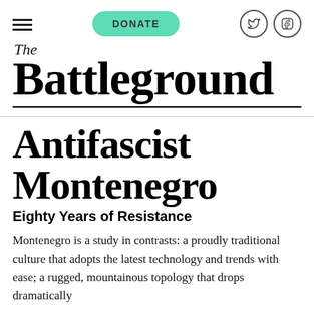DONATE | Twitter | Facebook
The Battleground
Antifascist Montenegro
Eighty Years of Resistance
Montenegro is a study in contrasts: a proudly traditional culture that adopts the latest technology and trends with ease; a rugged, mountainous topology that drops dramatically to the...